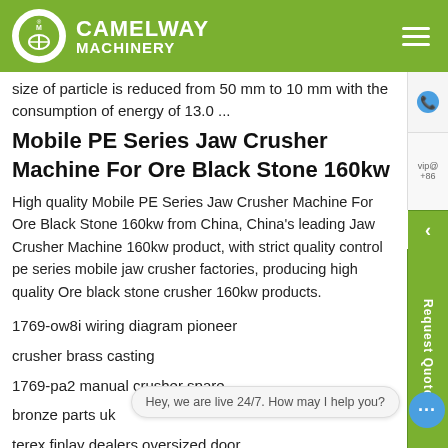CAMELWAY MACHINERY
size of particle is reduced from 50 mm to 10 mm with the consumption of energy of 13.0 ...
Mobile PE Series Jaw Crusher Machine For Ore Black Stone 160kw
High quality Mobile PE Series Jaw Crusher Machine For Ore Black Stone 160kw from China, China's leading Jaw Crusher Machine 160kw product, with strict quality control pe series mobile jaw crusher factories, producing high quality Ore black stone crusher 160kw products.
1769-ow8i wiring diagram pioneer
crusher brass casting
1769-pa2 manual crusher spare
bronze parts uk
terex finlay dealers oversized door
hinge pin bushings terex dealers
vsi crusher spare part
elite crusher barmac vsi crusher